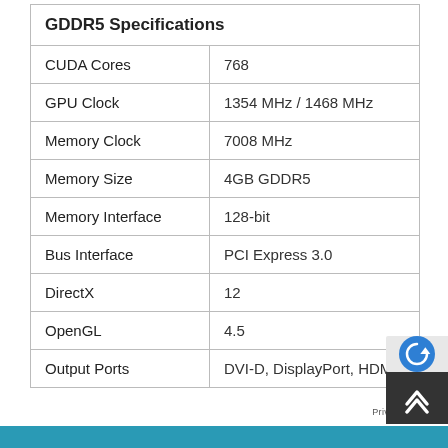| GDDR5 Specifications |  |
| --- | --- |
| CUDA Cores | 768 |
| GPU Clock | 1354 MHz / 1468 MHz |
| Memory Clock | 7008 MHz |
| Memory Size | 4GB GDDR5 |
| Memory Interface | 128-bit |
| Bus Interface | PCI Express 3.0 |
| DirectX | 12 |
| OpenGL | 4.5 |
| Output Ports | DVI-D, DisplayPort, HDMI |